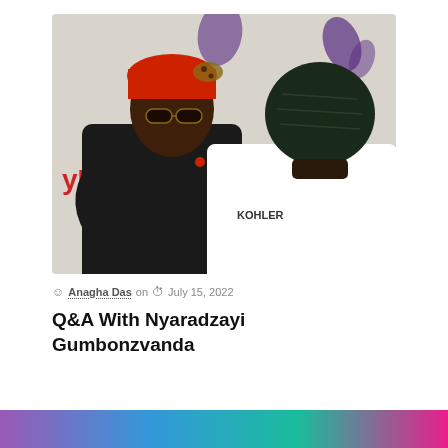[Figure (photo): Two women hugging at an outdoor event. One woman faces the camera wearing sunglasses and a red headwrap, dressed in a black hoodie. The other woman has her back to the camera wearing a white jersey with 'KOHLER' on the back and a dark crocheted hat. In the background is a banner with partial text including 'ROZ', 'yBo', 'htM' in red letters, and purple logo graphics.]
Anagha Das on July 15, 2022
Q&A With Nyaradzayi Gumbonzvanda
[Figure (illustration): Colorful gradient banner strip at bottom of page, transitioning from purple/pink on left through blue and teal to magenta on right.]